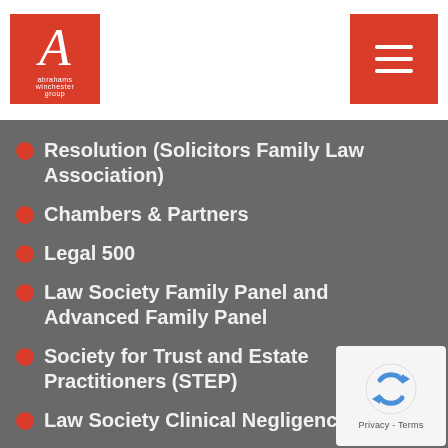Abrahams Winchester solicitors logo and navigation menu
Resolution (Solicitors Family Law Association)
Chambers & Partners
Legal 500
Law Society Family Panel and Advanced Family Panel
Society for Trust and Estate Practitioners (STEP)
Law Society Clinical Negligence Panel
Law Society Lexcel Accreditation
Association of Personal Injury Lawyers